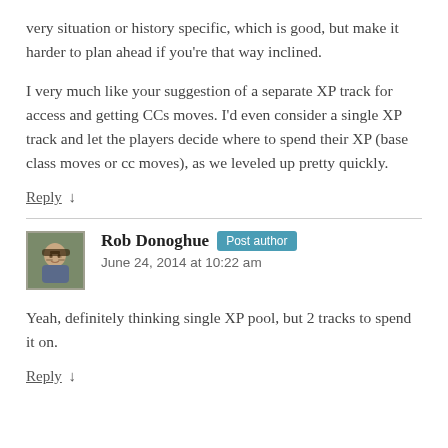very situation or history specific, which is good, but make it harder to plan ahead if you're that way inclined.
I very much like your suggestion of a separate XP track for access and getting CCs moves. I'd even consider a single XP track and let the players decide where to spend their XP (base class moves or cc moves), as we leveled up pretty quickly.
Reply ↓
Rob Donoghue  Post author
June 24, 2014 at 10:22 am
Yeah, definitely thinking single XP pool, but 2 tracks to spend it on.
Reply ↓